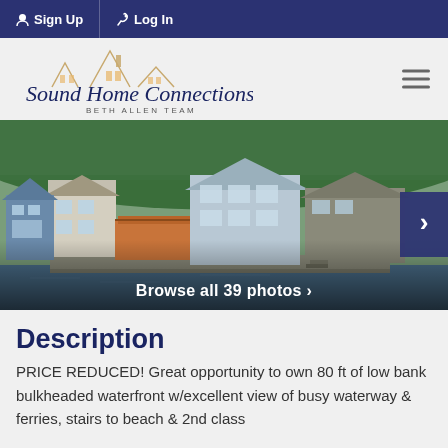Sign Up  Log In
[Figure (logo): Sound Home Connections - Beth Allen Team logo with house roofline illustration]
[Figure (photo): Waterfront homes along a busy waterway with forested hillside in background. Navigation arrow on right side. Text overlay reads 'Browse all 39 photos >']
Description
PRICE REDUCED! Great opportunity to own 80 ft of low bank bulkheaded waterfront w/excellent view of busy waterway & ferries, stairs to beach & 2nd class